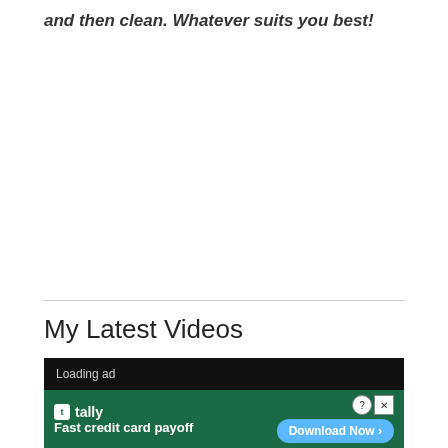and then clean. Whatever suits you best!
My Latest Videos
[Figure (screenshot): Video player area showing a loading ad banner. Top black bar reads 'Loading ad'. Below is a green advertisement banner for 'tally' with text 'Fast credit card payoff' and a 'Download Now' button with arrow. Close (X) and help (?) buttons visible.]